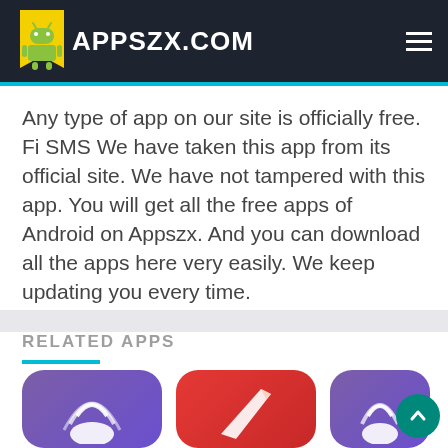APPSZX.COM
Any type of app on our site is officially free. Fi SMS We have taken this app from its official site. We have not tampered with this app. You will get all the free apps of Android on Appszx. And you can download all the apps here very easily. We keep updating you every time.
RELATED APPS
[Figure (illustration): Three Android app icons partially visible at the bottom: a purple icon with a wifi/signal hand symbol, a red icon with a knife/tool, and a purple icon with a signal hand symbol. A teal scroll-to-top button is overlaid on the right.]